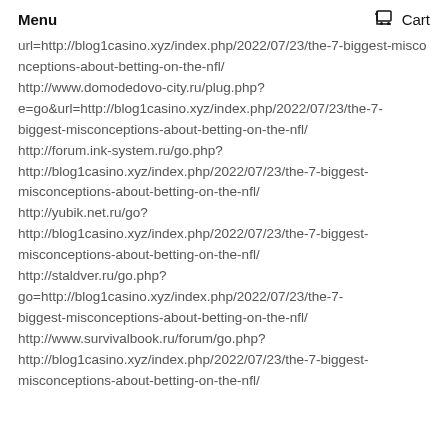Menu   Cart
url=http://blog1casino.xyz/index.php/2022/07/23/the-7-biggest-misconceptions-about-betting-on-the-nfl/ http://www.domodedovo-city.ru/plug.php?e=go&url=http://blog1casino.xyz/index.php/2022/07/23/the-7-biggest-misconceptions-about-betting-on-the-nfl/ http://forum.ink-system.ru/go.php? http://blog1casino.xyz/index.php/2022/07/23/the-7-biggest-misconceptions-about-betting-on-the-nfl/ http://yubik.net.ru/go? http://blog1casino.xyz/index.php/2022/07/23/the-7-biggest-misconceptions-about-betting-on-the-nfl/ http://staldver.ru/go.php?go=http://blog1casino.xyz/index.php/2022/07/23/the-7-biggest-misconceptions-about-betting-on-the-nfl/ http://www.survivalbook.ru/forum/go.php? http://blog1casino.xyz/index.php/2022/07/23/the-7-biggest-misconceptions-about-betting-on-the-nfl/